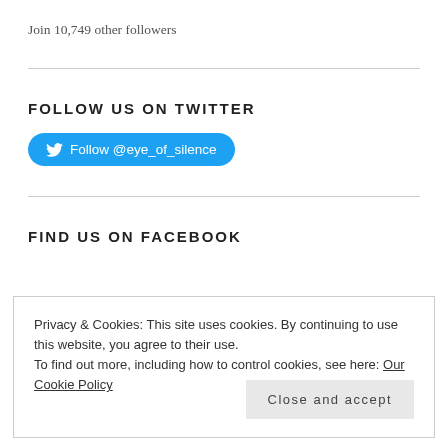Join 10,749 other followers
FOLLOW US ON TWITTER
[Figure (other): Twitter follow button with bird icon reading 'Follow @eye_of_silence']
FIND US ON FACEBOOK
Privacy & Cookies: This site uses cookies. By continuing to use this website, you agree to their use. To find out more, including how to control cookies, see here: Our Cookie Policy
Close and accept